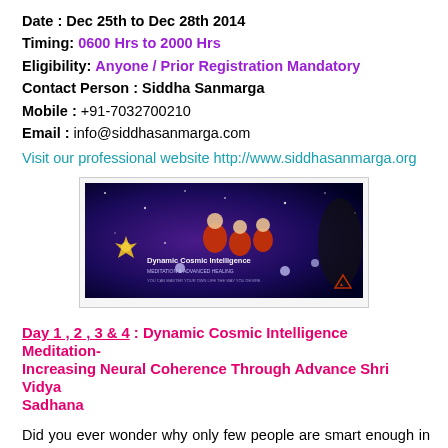Date : Dec 25th to Dec 28th 2014
Timing: 0600 Hrs to 2000 Hrs
Eligibility: Anyone / Prior Registration Mandatory
Contact Person : Siddha Sanmarga
Mobile : +91-7032700210
Email : info@siddhasanmarga.com
Visit our professional website http://www.siddhasanmarga.org
[Figure (photo): Promotional banner image for Dynamic Cosmic Intelligence Meditation & Advanced Healing showing monks meditating in cosmic blue background]
Day 1 , 2 , 3 & 4 : Dynamic Cosmic Intelligence Meditation- Increasing Neural Coherence Through Advance Shri Vidya Sadhana
Did you ever wonder why only few people are smart enough in the world? Did you wonder why only few people can think creatively and why there are only few geniuses in the world? Do you know that only a small percentage of our brain is used to think? Did you ever